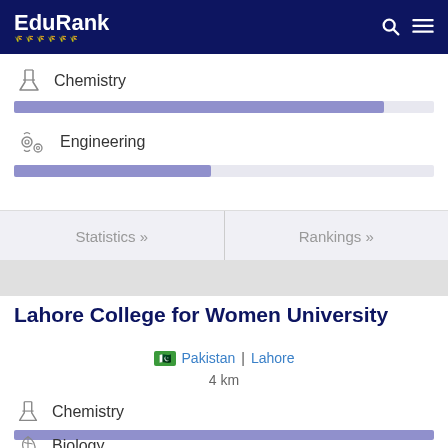EduRank
Chemistry
Engineering
Statistics »
Rankings »
Lahore College for Women University
Pakistan | Lahore
4 km
Chemistry
Biology